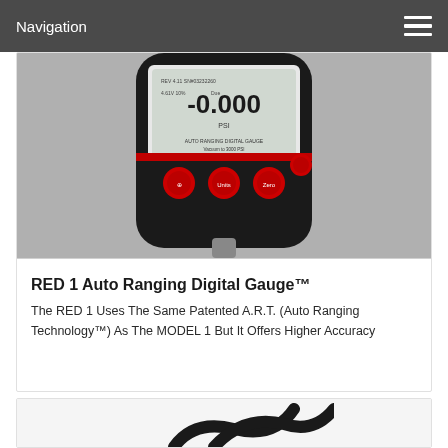Navigation
[Figure (photo): Photo of RED 1 Auto Ranging Digital Gauge showing digital display reading -0.000 PSI with red buttons labeled Units, Zero, and power]
RED 1 Auto Ranging Digital Gauge™
The RED 1 Uses The Same Patented A.R.T. (Auto Ranging Technology™) As The MODEL 1 But It Offers Higher Accuracy
[Figure (photo): Partial photo of another product at the bottom of the page, showing black curved components against white background]